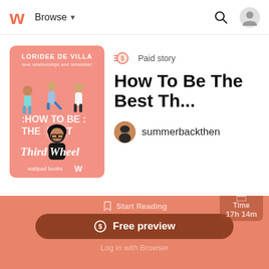Browse
[Figure (illustration): Book cover for 'How To Be The Best Third Wheel' by Loridee De Villa. Pink cover with illustrated teen characters, wattpad books logo.]
Paid story
How To Be The Best Th...
summerbackthen
Wattpad App - Read, Write, Connect
Start Reading
Free preview
Log in with Browser
17h 14m